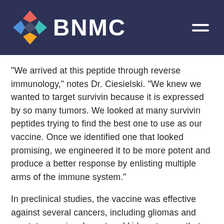[Figure (logo): BNMC logo with colorful diamond/arrow shapes and white BNMC text on dark navy header bar, with hamburger menu icon on right]
“We arrived at this peptide through reverse immunology,” notes Dr. Ciesielski. “We knew we wanted to target survivin because it is expressed by so many tumors. We looked at many survivin peptides trying to find the best one to use as our vaccine. Once we identified one that looked promising, we engineered it to be more potent and produce a better response by enlisting multiple arms of the immune system.”
In preclinical studies, the vaccine was effective against several cancers, including gliomas and prostate, ovarian, breast and kidney tumors that